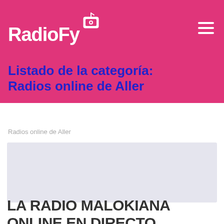RadioFy
Listado de la categoría: Radios online de Aller
Radios online de Aller
[Figure (other): Advertisement or placeholder box with light purple/grey background]
LA RADIO MALOKIANA ONLINE EN DIRECTO